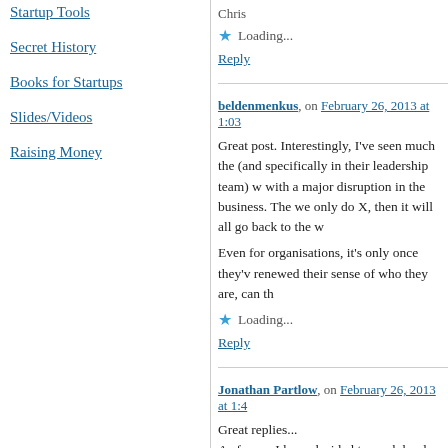Startup Tools
Secret History
Books for Startups
Slides/Videos
Raising Money
Chris
Loading...
Reply
beldenmenkus, on February 26, 2013 at 1:03
Great post. Interestingly, I've seen much the (and specifically in their leadership team) w with a major disruption in the business. The we only do X, then it will all go back to the w
Even for organisations, it's only once they'v renewed their sense of who they are, can th
Loading...
Reply
Jonathan Partlow, on February 26, 2013 at 1:4
Great replies...
As for me I have decided to work harder on will… Went back for another degree and the course taking Steve's courses and attending skills.
With great platforms like coursera and uda